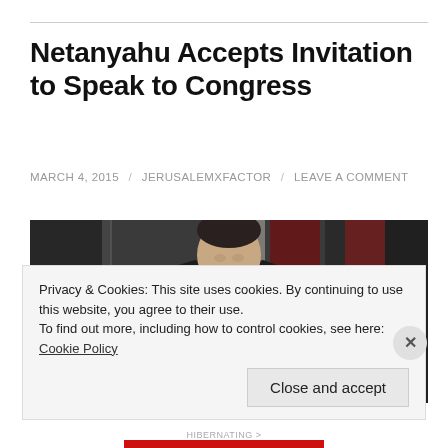Netanyahu Accepts Invitation to Speak to Congress
MARCH 4, 2015 / JERUSALEMXFACTOR / LEAVE A COMMENT
[Figure (photo): A man in a dark suit with a light blue tie stands at a podium in what appears to be a congressional chamber, with US flags visible in the background.]
Privacy & Cookies: This site uses cookies. By continuing to use this website, you agree to their use.
To find out more, including how to control cookies, see here: Cookie Policy
Close and accept